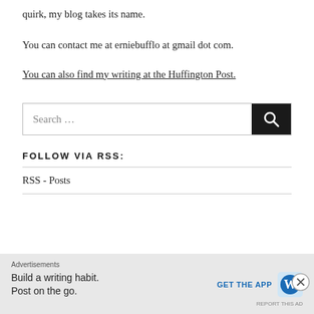quirk, my blog takes its name.
You can contact me at erniebufflo at gmail dot com.
You can also find my writing at the Huffington Post.
[Figure (screenshot): Search bar with dark search button containing magnifying glass icon]
FOLLOW VIA RSS:
RSS - Posts
[Figure (screenshot): Advertisement banner: 'Advertisements' label, 'Build a writing habit. Post on the go.' with 'GET THE APP' call to action and WordPress logo. Close button (X) in circle on right side. 'REPORT THIS AD' in small text at bottom right.]